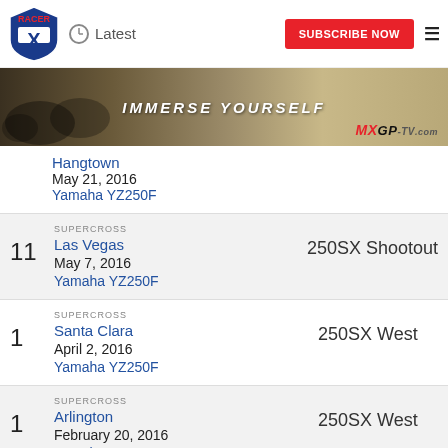Racer X | Latest | SUBSCRIBE NOW
[Figure (photo): MXGP-TV.com banner with motocross riders and IMMERSE YOURSELF text]
Hangtown | May 21, 2016 | Yamaha YZ250F
11 | SUPERCROSS | Las Vegas | May 7, 2016 | Yamaha YZ250F | 250SX Shootout
1 | SUPERCROSS | Santa Clara | April 2, 2016 | Yamaha YZ250F | 250SX West
1 | SUPERCROSS | Arlington | February 20, 2016 | Yamaha YZ250F | 250SX West